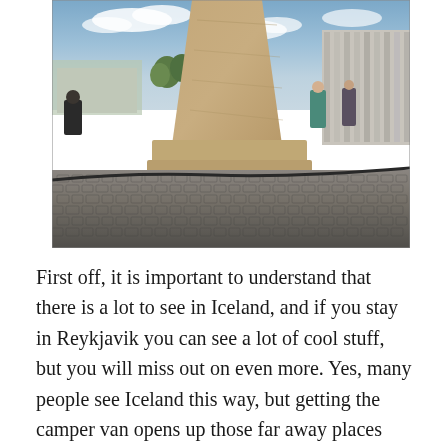[Figure (photo): A close-up photograph of the base of a large stone monument or statue on a cobblestone plaza, with people standing nearby. In the background to the right is a tall modernist building with vertical concrete columns (Hallgrímskirkja church), and to the left are trees and a low building. The sky is partly cloudy and blue.]
First off, it is important to understand that there is a lot to see in Iceland, and if you stay in Reykjavik you can see a lot of cool stuff, but you will miss out on even more. Yes, many people see Iceland this way, but getting the camper van opens up those far away places that can't be reached for on day trips, and